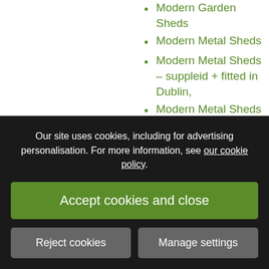Modern Garden Sheds
Modern Metal Sheds
Modern Metal Sheds – suppleid + fitted in Dublin,
Modern Metal Sheds – supplied + fitted in Dublin,
Natural Stone Driveways
Natural Stone Wall Coping
No Maintenance Features
No Maintenance
Outdoor Garden LED
Outdoor Garden
Our site uses cookies, including for advertising personalisation. For more information, see our cookie policy.
Accept cookies and close
Reject cookies
Manage settings